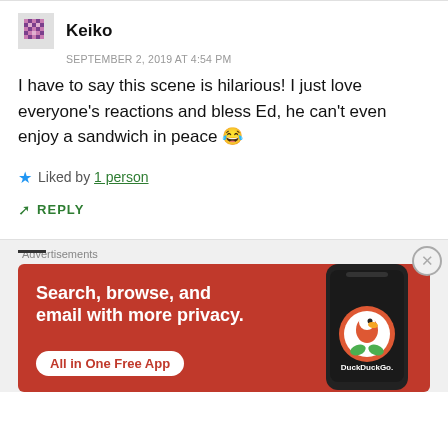Keiko
SEPTEMBER 2, 2019 AT 4:54 PM
I have to say this scene is hilarious! I just love everyone's reactions and bless Ed, he can't even enjoy a sandwich in peace 😂
★ Liked by 1 person
↳ REPLY
[Figure (other): DuckDuckGo advertisement banner showing a smartphone with the DuckDuckGo app. Text reads: Search, browse, and email with more privacy. All in One Free App. DuckDuckGo logo.]